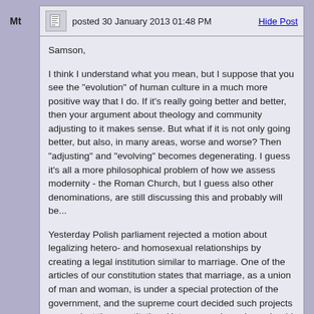Mt
posted 30 January 2013 01:48 PM
Hide Post
Samson,
I think I understand what you mean, but I suppose that you see the "evolution" of human culture in a much more positive way that I do. If it's really going better and better, then your argument about theology and community adjusting to it makes sense. But what if it is not only going better, but also, in many areas, worse and worse? Then "adjusting" and "evolving" becomes degenerating. I guess it's all a more philosophical problem of how we assess modernity - the Roman Church, but I guess also other denominations, are still discussing this and probably will be...
Yesterday Polish parliament rejected a motion about legalizing hetero- and homosexual relationships by creating a legal institution similar to marriage. One of the articles of our constitution states that marriage, as a union of man and woman, is under a special protection of the government, and the supreme court decided such projects are against the constitution. Heterosexual marriage should be privileged. For many progressive Western intellectuals this is probably simply outdated, reactionary, against the "evolution" of Western culture. But for me it is a sign that Poland has been and is still faithful to God and